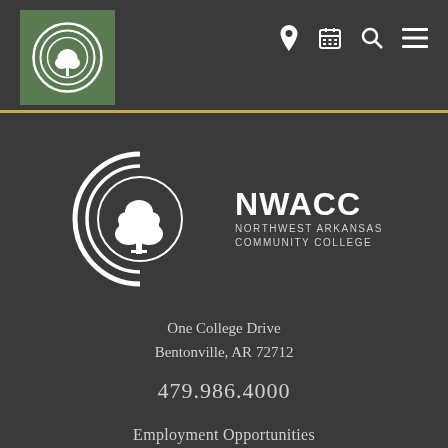[Figure (logo): NWACC logo - circular emblem with tree on green background in header]
[Figure (logo): NWACC main logo - large circular emblem with tree and NWACC NORTHWEST ARKANSAS COMMUNITY COLLEGE text]
One College Drive
Bentonville, AR 72712
479.986.4000
Employment Opportunities
Emergency Information
Policy
Accessibility